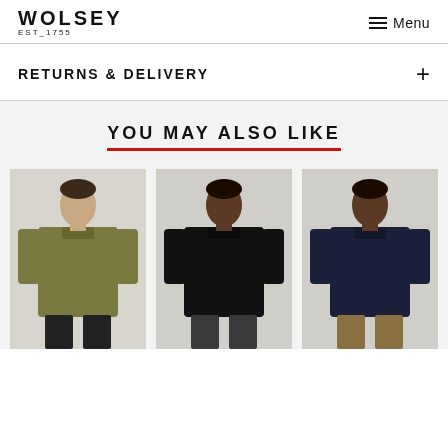WOLSEY EST_1755  ≡ Menu
RETURNS & DELIVERY
YOU MAY ALSO LIKE
[Figure (photo): Male model wearing olive green long-sleeve polo shirt with dark jeans]
[Figure (photo): Male model wearing black long-sleeve polo shirt with dark grey trousers]
[Figure (photo): Male model wearing navy long-sleeve polo shirt with khaki trousers]